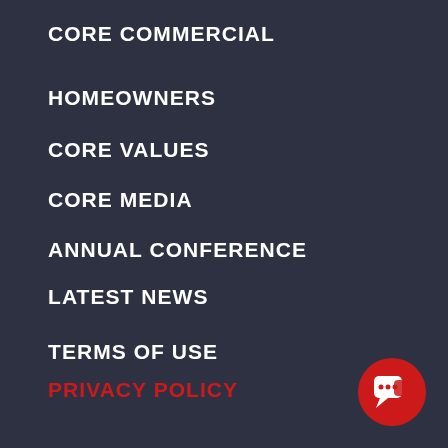CORE COMMERCIAL
HOMEOWNERS
CORE VALUES
CORE MEDIA
ANNUAL CONFERENCE
LATEST NEWS
TERMS OF USE
PRIVACY POLICY
CAREERS
NEED HELP NOW
[Figure (illustration): Red circular chat button with speech bubble icon in bottom right corner]